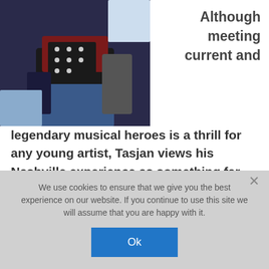[Figure (photo): Person sitting, wearing dark clothing with polka dot pattern, against dark background]
Although meeting current and
legendary musical heroes is a thrill for any young artist, Tasjan views his Nashville experience as something far bigger than marking the spaces of his personal musical-icon bingo card.

“Meeting people like Guy Clark and others made me think about the craft of songwriting more,” Tasjan says. “I think there’s a great reverence for people like Guy Clark and John
We use cookies to ensure that we give you the best experience on our website. If you continue to use this site we will assume that you are happy with it.
Ok